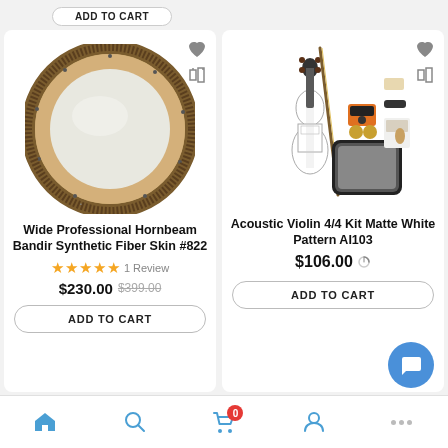[Figure (screenshot): Top partial view of a product card showing an 'ADD TO CART' button at the top of the page, partially visible.]
[Figure (photo): Wide Professional Hornbeam Bandir Synthetic Fiber Skin #822 - a circular frame drum with light wood rim and white/translucent drum head.]
Wide Professional Hornbeam Bandir Synthetic Fiber Skin #822
★★★★★ 1 Review
$230.00 $399.00
ADD TO CART
[Figure (photo): Acoustic Violin 4/4 Kit Matte White Pattern AI103 - white violin with bow, case, and accessories including tuner, rosin, bridge.]
Acoustic Violin 4/4 Kit Matte White Pattern AI103
$106.00
ADD TO CART
Home | Search | Cart (0) | Account | More